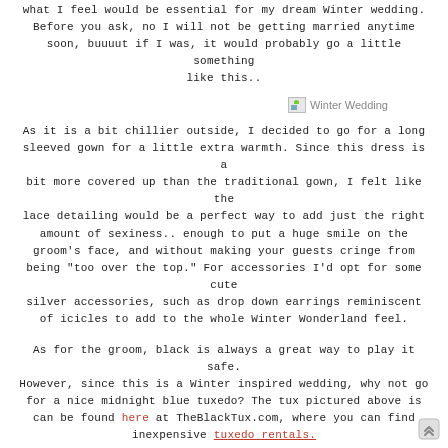what I feel would be essential for my dream Winter wedding. Before you ask, no I will not be getting married anytime soon, buuuut if I was, it would probably go a little something like this..
[Figure (photo): Winter Wedding image placeholder shown in the upper right area]
As it is a bit chillier outside, I decided to go for a long sleeved gown for a little extra warmth. Since this dress is a bit more covered up than the traditional gown, I felt like the lace detailing would be a perfect way to add just the right amount of sexiness.. enough to put a huge smile on the groom's face, and without making your guests cringe from being "too over the top." For accessories I'd opt for some cute silver accessories, such as drop down earrings reminiscent of icicles to add to the whole Winter Wonderland feel.
As for the groom, black is always a great way to play it safe. However, since this is a Winter inspired wedding, why not go for a nice midnight blue tuxedo? The tux pictured above is can be found here at TheBlackTux.com, where you can find inexpensive tuxedo rentals.